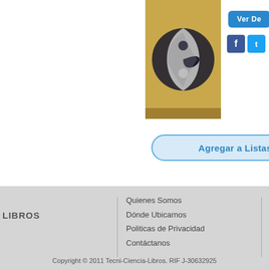[Figure (photo): Book cover with yin-yang dragon illustration on golden background]
[Figure (other): Ver De button (blue rounded button, partially visible)]
[Figure (other): Facebook and Twitter social media icons]
Agregar a Listas Especiales
LIBROS
Quienes Somos
Dónde Ubicarnos
Politicas de Privacidad
Contáctanos
Copyright © 2011 Tecni-Ciencia-Libros. RIF J-30632925